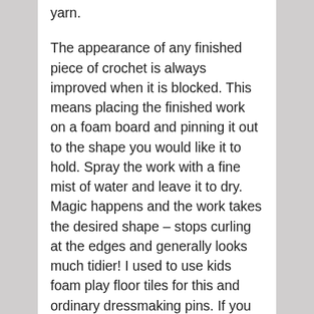yarn.
The appearance of any finished piece of crochet is always improved when it is blocked. This means placing the finished work on a foam board and pinning it out to the shape you would like it to hold. Spray the work with a fine mist of water and leave it to dry. Magic happens and the work takes the desired shape – stops curling at the edges and generally looks much tidier! I used to use kids foam play floor tiles for this and ordinary dressmaking pins. If you are just starting you could use those as a cheaper alternative – they served me well. If you are looking to treat someone or yourself, the